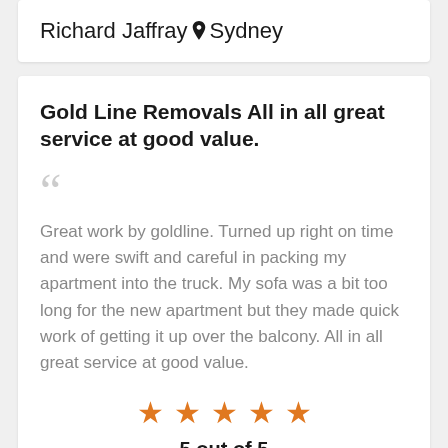Richard Jaffray 📍 Sydney
Gold Line Removals All in all great service at good value.
Great work by goldline. Turned up right on time and were swift and careful in packing my apartment into the truck. My sofa was a bit too long for the new apartment but they made quick work of getting it up over the balcony. All in all great service at good value.
[Figure (other): Five orange star rating icons in a row]
5 out of 5